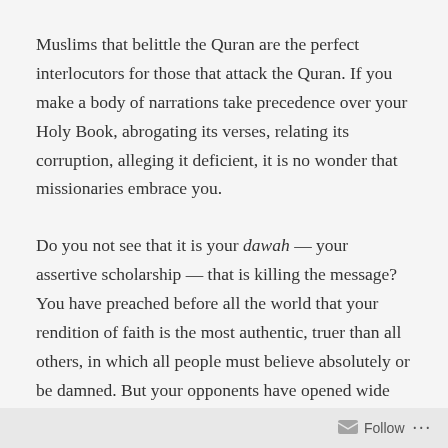Muslims that belittle the Quran are the perfect interlocutors for those that attack the Quran. If you make a body of narrations take precedence over your Holy Book, abrogating its verses, relating its corruption, alleging it deficient, it is no wonder that missionaries embrace you.
Do you not see that it is your dawah — your assertive scholarship — that is killing the message? You have preached before all the world that your rendition of faith is the most authentic, truer than all others, in which all people must believe absolutely or be damned. But your opponents have opened wide your books and pored over
Follow